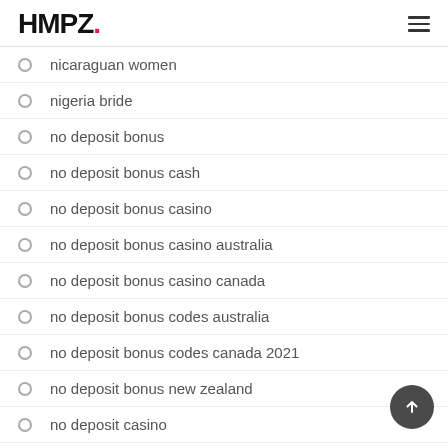HMPZ.
nicaraguan women
nigeria bride
no deposit bonus
no deposit bonus cash
no deposit bonus casino
no deposit bonus casino australia
no deposit bonus casino canada
no deposit bonus codes australia
no deposit bonus codes canada 2021
no deposit bonus new zealand
no deposit casino